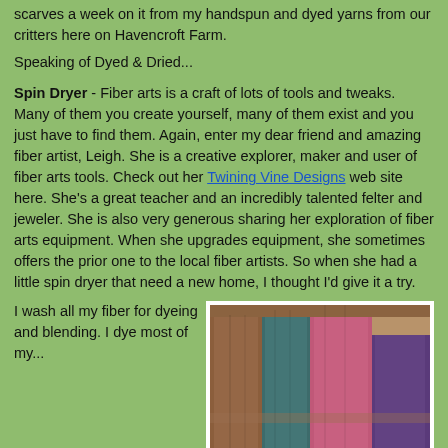scarves a week on it from my handspun and dyed yarns from our critters here on Havencroft Farm.
Speaking of Dyed & Dried...
Spin Dryer - Fiber arts is a craft of lots of tools and tweaks. Many of them you create yourself, many of them exist and you just have to find them. Again, enter my dear friend and amazing fiber artist, Leigh. She is a creative explorer, maker and user of fiber arts tools. Check out her Twining Vine Designs web site here. She's a great teacher and an incredibly talented felter and jeweler. She is also very generous sharing her exploration of fiber arts equipment. When she upgrades equipment, she sometimes offers the prior one to the local fiber artists. So when she had a little spin dryer that need a new home, I thought I'd give it a try.
[Figure (photo): Colorful knitted or woven fiber pieces hanging, showing brown, teal, pink/magenta, and purple yarns on what appears to be a display rack.]
I wash all my fiber for dyeing and blending. I dye most of my...